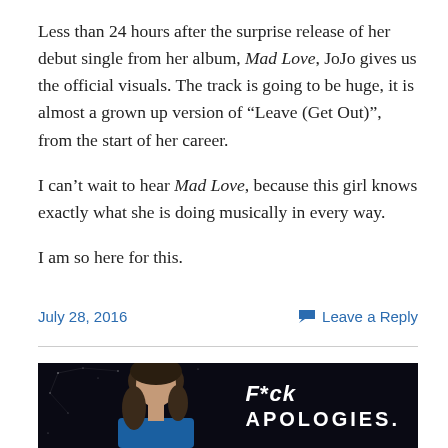Less than 24 hours after the surprise release of her debut single from her album, Mad Love, JoJo gives us the official visuals. The track is going to be huge, it is almost a grown up version of “Leave (Get Out)”, from the start of her career.

I can't wait to hear Mad Love, because this girl knows exactly what she is doing musically in every way.

I am so here for this.
July 28, 2016
Leave a Reply
[Figure (photo): Dark background image of a young woman with blonde hair wearing a blue top, with white bold text overlay reading 'F*ck APOLOGIES.' on the right side]